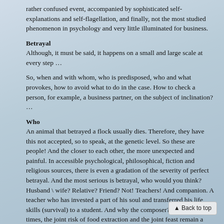rather confused event, accompanied by sophisticated self-explanations and self-flagellation, and finally, not the most studied phenomenon in psychology and very little illuminated for business.
Betrayal
Although, it must be said, it happens on a small and large scale at every step …
So, when and with whom, who is predisposed, who and what provokes, how to avoid what to do in the case. How to check a person, for example, a business partner, on the subject of inclination? …
Who
An animal that betrayed a flock usually dies. Therefore, they have this not accepted, so to speak, at the genetic level. So these are people! And the closer to each other, the more unexpected and painful. In accessible psychological, philosophical, fiction and religious sources, there is even a gradation of the severity of perfect betrayal. And the most serious is betrayal, who would you think? Husband \ wife? Relative? Friend? Not! Teachers! And companion. A teacher who has invested a part of his soul and transferred his life skills (survival) to a student. And why the composer? From the cave times, the joint risk of food extraction and the joint feast remain a subconscious attribute of the survival of human society. Betrayal of co-seekers of food is the same as sending them to starvation. Is it possible to draw an analogy between the ancient search